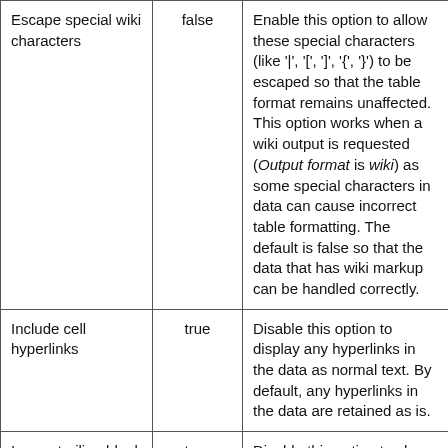| Escape special wiki characters | false | Enable this option to allow these special characters (like '|', '[', ']', '{', '}') to be escaped so that the table format remains unaffected. This option works when a wiki output is requested (Output format is wiki) as some special characters in data can cause incorrect table formatting. The default is false so that the data that has wiki markup can be handled correctly. |
| Include cell hyperlinks | true | Disable this option to display any hyperlinks in the data as normal text. By default, any hyperlinks in the data are retained as is. |
| Ignore trailing blank rows | true | Disable this option to show blank rows; a row is considered blank if all the columns specified in Columns to show parameter are blank. |
| Ignore trailing | true | Disable this option to show blank columns |